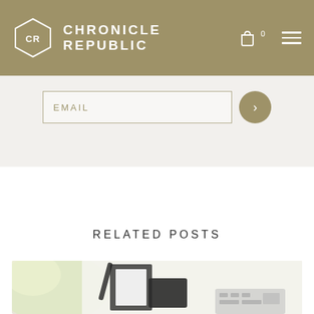CR CHRONICLE REPUBLIC
EMAIL
RELATED POSTS
[Figure (photo): Blog post thumbnail showing a desk with notebook, pen, and keyboard on a white background with soft flowers]